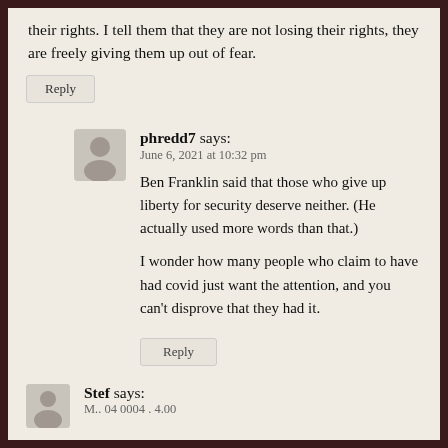their rights. I tell them that they are not losing their rights, they are freely giving them up out of fear.
Reply
phredd7 says:
June 6, 2021 at 10:32 pm

Ben Franklin said that those who give up liberty for security deserve neither. (He actually used more words than that.)

I wonder how many people who claim to have had covid just want the attention, and you can't disprove that they had it.

Reply
Stef says:
M.. 04 0004 . 4.00